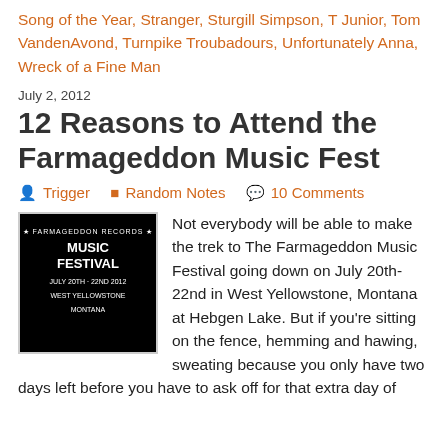Song of the Year, Stranger, Sturgill Simpson, T Junior, Tom VandenAvond, Turnpike Troubadours, Unfortunately Anna, Wreck of a Fine Man
July 2, 2012
12 Reasons to Attend the Farmageddon Music Fest
Trigger   Random Notes   10 Comments
[Figure (illustration): Farmageddon Records Music Festival poster: black background with white text reading FARMAGEDDON RECORDS MUSIC FESTIVAL JULY 20TH - 22ND 2012 WEST YELLOWSTONE MONTANA, with star decorations]
Not everybody will be able to make the trek to The Farmageddon Music Festival going down on July 20th-22nd in West Yellowstone, Montana at Hebgen Lake. But if you're sitting on the fence, hemming and hawing, sweating because you only have two days left before you have to ask off for that extra day of